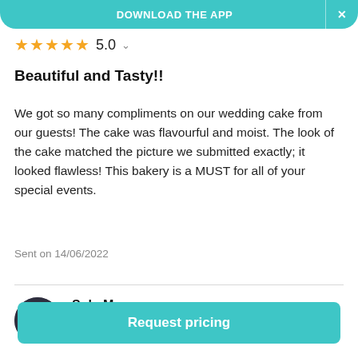DOWNLOAD THE APP  ×
★★★★★ 5.0
Beautiful and Tasty!!
We got so many compliments on our wedding cake from our guests! The cake was flavourful and moist. The look of the cake matched the picture we submitted exactly; it looked flawless! This bakery is a MUST for all of your special events.
Sent on 14/06/2022
[Figure (photo): Circular avatar photo of a couple (Sulo M.) in formal attire]
Sulo M.
Married on 22/10/2021
★★★★
Request pricing